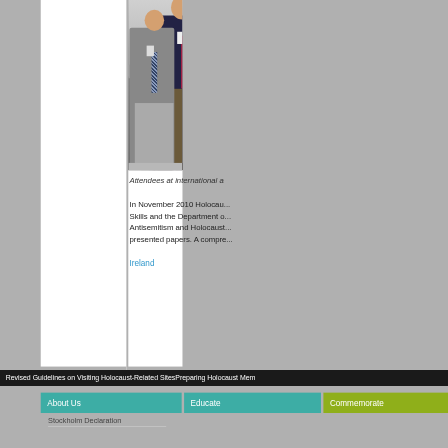[Figure (photo): Photo of attendees at an international event, showing three men in suits standing together]
Attendees at international a...
In November 2010 Holocau... Skills and the Department o... Antisemitism and Holocaust... presented papers. A compre...
Ireland
Revised Guidelines on Visiting Holocaust-Related SitesPreparing Holocaust Mem...
About Us
Educate
Commemorate
Stockholm Declaration